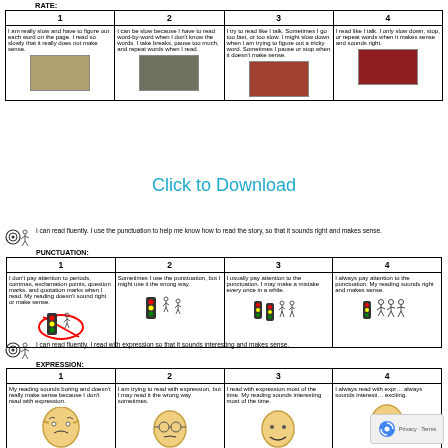RATE:
| 1 | 2 | 3 | 4 |
| --- | --- | --- | --- |
| I am really slow and have to figure out each word on the page. I read so slowly that it really does not make sense. | I can be slow because I have to read word-by-word when I don't know the words. I take breaks, pause too much, and repeat words when I read. | I try to read like I talk. Sometimes I go too fast, or too slow. I might slow down when I am trying to figure out a tricky word. Sometimes I pause or stop when it doesn't make sense. | I read like I talk. I only slow down, stop, or repeat words when it makes sense and sounds right. |
Click to Download
I can read fluently. I use the punctuation to help me know how to read the story, so that it sounds right and makes sense.
PUNCTUATION:
| 1 | 2 | 3 | 4 |
| --- | --- | --- | --- |
| I don't pay attention to periods, commas, exclamation points, question marks, and quotation marks when I read. My reading doesn't sound right or make sense. | Sometimes I use the punctuation, but I might use it the wrong way. | I usually pay attention to the punctuation. I may make a mistake every once in a while. | I always pay attention to the punctuation. My reading sounds right and makes sense. |
I can read fluently. I read with expression so that it sounds interesting and makes sense.
EXPRESSION:
| 1 | 2 | 3 | 4 |
| --- | --- | --- | --- |
| My reading sounds boring and doesn't really make sense because I don't read with expression. | I am trying to read with expression, but I may read it the wrong way sometimes. | I read with expression most of the time. My reading sounds interesting most of the time. | I always read with expression. Always sounds interesting and exciting. |